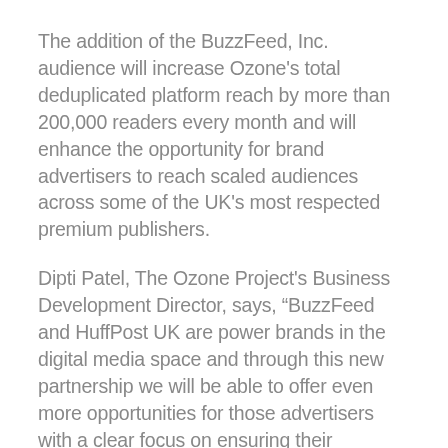The addition of the BuzzFeed, Inc. audience will increase Ozone's total deduplicated platform reach by more than 200,000 readers every month and will enhance the opportunity for brand advertisers to reach scaled audiences across some of the UK's most respected premium publishers.
Dipti Patel, The Ozone Project's Business Development Director, says, “BuzzFeed and HuffPost UK are power brands in the digital media space and through this new partnership we will be able to offer even more opportunities for those advertisers with a clear focus on ensuring their campaigns only ever appear in quality,